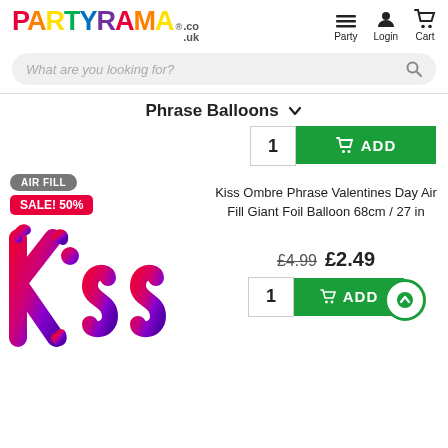[Figure (logo): Partyrama.co.uk logo in multicolor letters]
What are you looking for?
Phrase Balloons
1  ADD
[Figure (photo): Kiss Ombre Phrase Valentines Day Air Fill Giant Foil Balloon 68cm / 27 in product image with AIR FILL badge and SALE! 50% badge]
Kiss Ombre Phrase Valentines Day Air Fill Giant Foil Balloon 68cm / 27 in
£4.99  £2.49
1  ADD